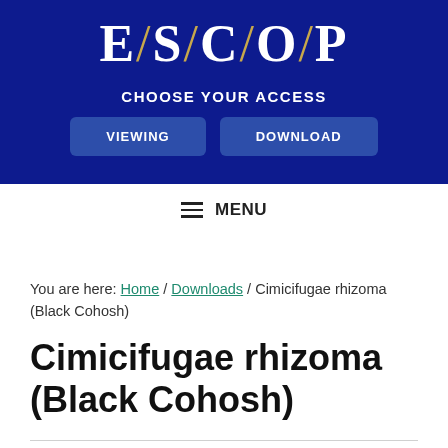E/S/C/O/P
CHOOSE YOUR ACCESS
VIEWING   DOWNLOAD
≡ MENU
You are here: Home / Downloads / Cimicifugae rhizoma (Black Cohosh)
Cimicifugae rhizoma (Black Cohosh)